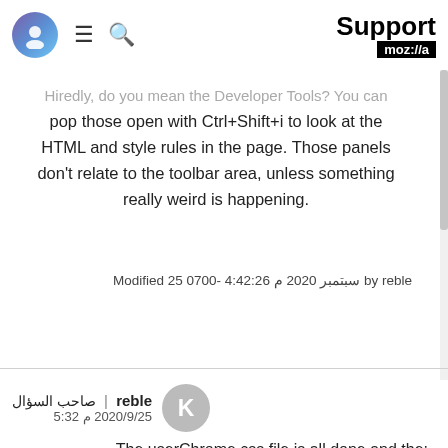Support moz://a
pop those open with Ctrl+Shift+i to look at the HTML and style rules in the page. Those panels don't relate to the toolbar area, unless something really weird is happening.
Modified 25 سبتمبر 2020 م 4:42:26 -0700 by reble
reble | صاحب السؤال
2020/9/25 م 5:32
The userChrome.css file is all done and the: